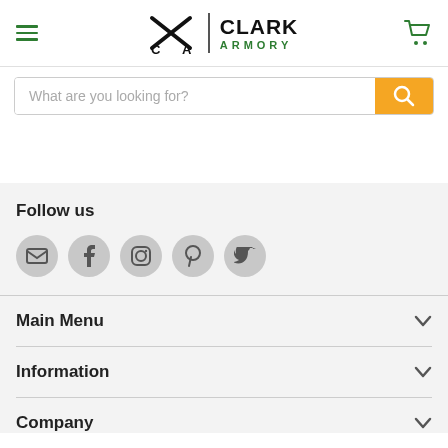[Figure (logo): Clark Armory logo with crossed guns icon and text CLARK ARMORY]
What are you looking for?
Follow us
[Figure (infographic): Social media icons: Email, Facebook, Instagram, Pinterest, Twitter]
Main Menu
Information
Company